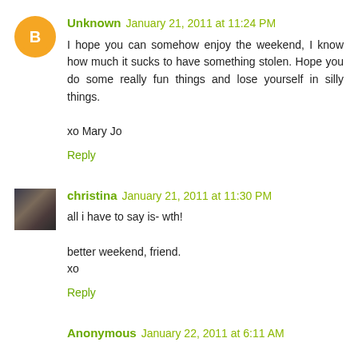Unknown January 21, 2011 at 11:24 PM
I hope you can somehow enjoy the weekend, I know how much it sucks to have something stolen. Hope you do some really fun things and lose yourself in silly things.

xo Mary Jo
Reply
christina January 21, 2011 at 11:30 PM
all i have to say is- wth!

better weekend, friend.
xo
Reply
Anonymous January 22, 2011 at 6:11 AM